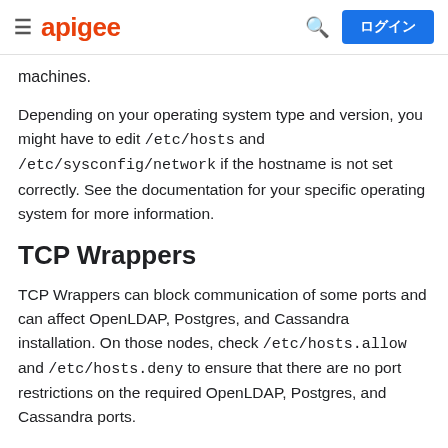apigee  ログイン
machines.
Depending on your operating system type and version, you might have to edit /etc/hosts and /etc/sysconfig/network if the hostname is not set correctly. See the documentation for your specific operating system for more information.
TCP Wrappers
TCP Wrappers can block communication of some ports and can affect OpenLDAP, Postgres, and Cassandra installation. On those nodes, check /etc/hosts.allow and /etc/hosts.deny to ensure that there are no port restrictions on the required OpenLDAP, Postgres, and Cassandra ports.